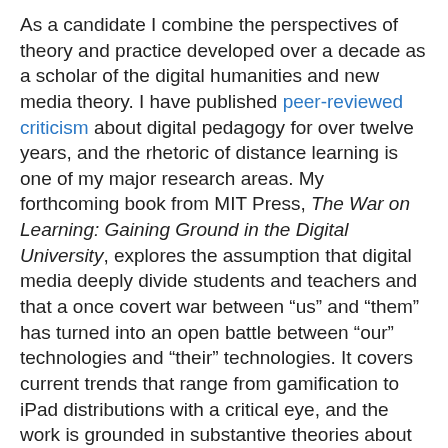As a candidate I combine the perspectives of theory and practice developed over a decade as a scholar of the digital humanities and new media theory.  I have published peer-reviewed criticism about digital pedagogy for over twelve years, and the rhetoric of distance learning is one of my major research areas. My forthcoming book from MIT Press, The War on Learning: Gaining Ground in the Digital University, explores the assumption that digital media deeply divide students and teachers and that a once covert war between “us” and “them” has turned into an open battle between “our” technologies and “their” technologies.  It covers current trends that range from gamification to iPad distributions with a critical eye, and the work is grounded in substantive theories about new media, procedural rhetoric, embodied interactions with technology, and co-presence.
I also direct a writing-intensive interdisciplinary "core" program that satisfies the university's composition requirement devoted to the study of Culture, Art, and Technology.  Having come from a Humanities Core program in my previous position, I am sensitive to how the mission of a traditional English department may be under pressure to